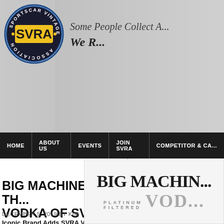[Figure (logo): SVRA Sportscar Vintage Racing Association circular logo with yellow text on black background, and vintage car image in background header]
Some People Collect A...
We R...
HOME | ABOUT US | EVENTS | JOIN SVRA | COMPETITOR & CA...
BIG MACHINE VODKA BECOMES TH... VODKA OF SVRA
DECEMBER 5, 2019 BY KIM
Iconic Brand Adds SVRA Vintage Racing To Impressive...
[Figure (logo): Big Machine Platinum Filtered Vodka logo with decorative serif text]